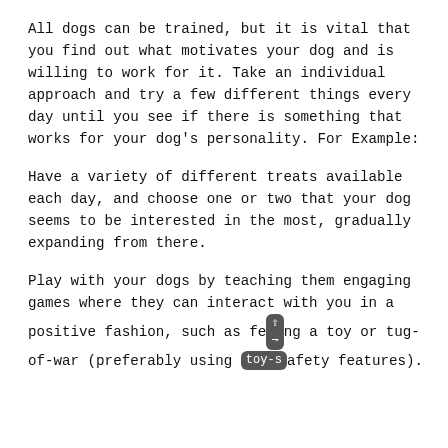All dogs can be trained, but it is vital that you find out what motivates your dog and is willing to work for it. Take an individual approach and try a few different things every day until you see if there is something that works for your dog's personality. For Example:
Have a variety of different treats available each day, and choose one or two that your dog seems to be interested in the most, gradually expanding from there.
Play with your dogs by teaching them engaging games where they can interact with you in a positive fashion, such as fetching a toy or tug-of-war (preferably using toy-safety features).